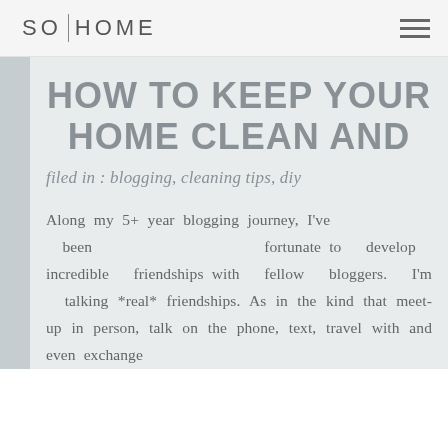SO|HOME
HOW TO KEEP YOUR HOME CLEAN AND
filed in : blogging, cleaning tips, diy
Along my 5+ year blogging journey, I've been fortunate to develop incredible friendships with fellow bloggers. I'm talking *real* friendships. As in the kind that meet-up in person, talk on the phone, text, travel with and even exchange